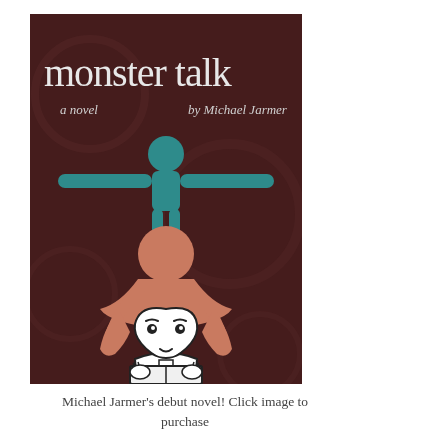[Figure (illustration): Book cover for 'monster talk, a novel by Michael Jarmer'. Dark reddish-brown textured background with stylized illustrated characters: a teal humanoid figure balancing on the head of a salmon/peach-colored figure with spread arms, which in turn sits atop a white heart-faced character with dark hair who is reading a book. Title 'monster talk' in large white serif font at top, 'a novel' and 'by Michael Jarmer' in smaller white text below title.]
Michael Jarmer's debut novel! Click image to purchase